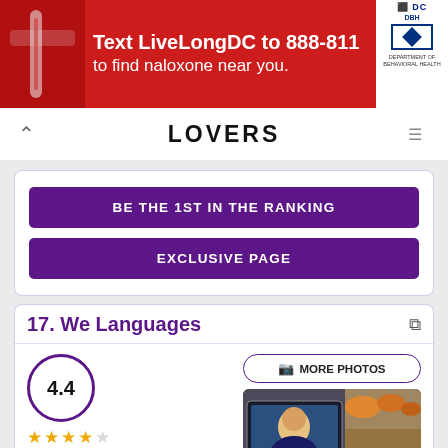[Figure (infographic): Red advertisement banner: 'Text LiveLongDC to 888-811 to find naloxone near you.' with DC and DBH logos on the right.]
LOVERS
BE THE 1ST IN THE RANKING
EXCLUSIVE PAGE
17. We Languages
4.4
20 reviews
Location
4
Price
4
[Figure (photo): Photo showing a laptop screen with a woman on a video call, and a lounge area with hanging lamps in the background.]